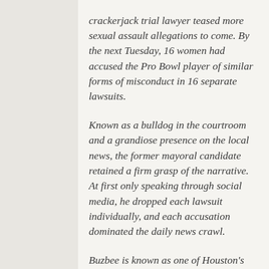crackerjack trial lawyer teased more sexual assault allegations to come. By the next Tuesday, 16 women had accused the Pro Bowl player of similar forms of misconduct in 16 separate lawsuits.
Known as a bulldog in the courtroom and a grandiose presence on the local news, the former mayoral candidate retained a firm grasp of the narrative. At first only speaking through social media, he dropped each lawsuit individually, and each accusation dominated the daily news crawl.
Buzbee is known as one of Houston's most media-savvy attorneys, and the Watson case has been no exception. He has exploited news outlets' desire for a buzz-inducing story in order